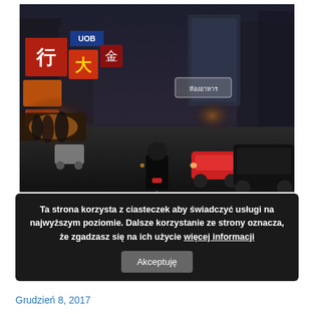[Figure (photo): Busy Asian city street scene at dusk with motorcyclist in foreground, cars in traffic, colorful signs in Chinese characters (UOB, large red/orange signs), market stalls on left sidewalk with people, tall buildings in background]
Ta strona korzysta z ciasteczek aby świadczyć usługi na najwyższym poziomie. Dalsze korzystanie ze strony oznacza, że zgadzasz się na ich użycie więcej informacji
Asian Stocks Extend Gains On Brexit Deal News
Grudzień 8, 2017